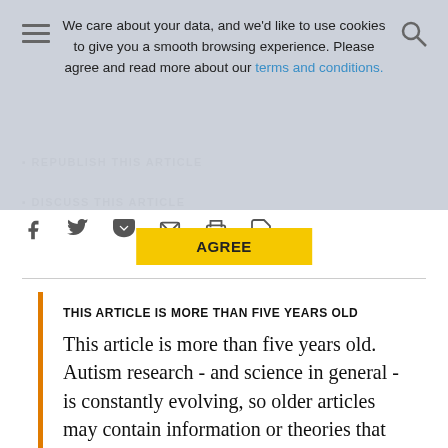We care about your data, and we'd like to use cookies to give you a smooth browsing experience. Please agree and read more about our terms and conditions.
AGREE
REPUBLISH THIS ARTICLE
DISCUSS THIS ARTICLE
[Figure (infographic): Row of social sharing icons: Facebook, Twitter, Pocket, Email, Print, PDF]
THIS ARTICLE IS MORE THAN FIVE YEARS OLD
This article is more than five years old. Autism research - and science in general - is constantly evolving, so older articles may contain information or theories that have been reevaluated since their original